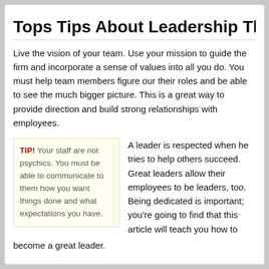Tops Tips About Leadership That Anyon
Live the vision of your team. Use your mission to guide the firm and incorporate a sense of values into all you do. You must help team members figure our their roles and be able to see the much bigger picture. This is a great way to provide direction and build strong relationships with employees.
TIP! Your staff are not psychics. You must be able to communicate to them how you want things done and what expectations you have.
A leader is respected when he tries to help others succeed. Great leaders allow their employees to be leaders, too. Being dedicated is important; you're going to find that this article will teach you how to become a great leader.